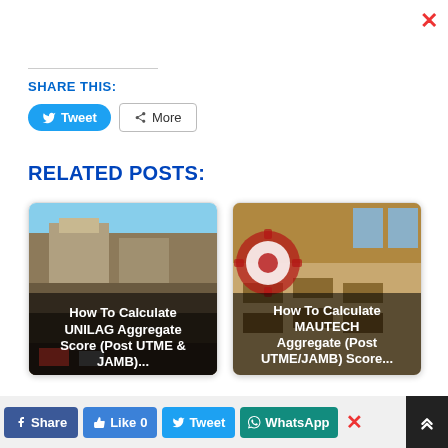X (close)
SHARE THIS:
[Figure (screenshot): Tweet button (blue rounded) and More button (outlined)]
RELATED POSTS:
[Figure (photo): Card showing UNILAG building photo with text: How To Calculate UNILAG Aggregate Score (Post UTME & JAMB)...]
[Figure (photo): Card showing MAUTECH/classroom photo with gear logo overlay and text: How To Calculate MAUTECH Aggregate (Post UTME/JAMB) Score...]
[Figure (screenshot): Bottom social share bar: Share, Like 0, Tweet, WhatsApp, X close, scroll-up arrow]